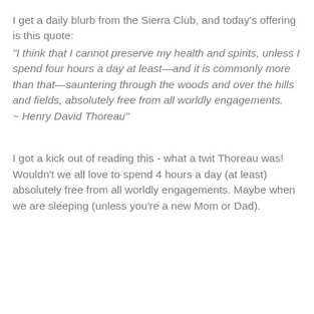I get a daily blurb from the Sierra Club, and today's offering is this quote:
"I think that I cannot preserve my health and spirits, unless I spend four hours a day at least—and it is commonly more than that—sauntering through the woods and over the hills and fields, absolutely free from all worldly engagements.
~ Henry David Thoreau"
I got a kick out of reading this - what a twit Thoreau was!  Wouldn't we all love to spend 4 hours a day (at least) absolutely free from all worldly engagements. Maybe when we are sleeping (unless you're a new Mom or Dad).